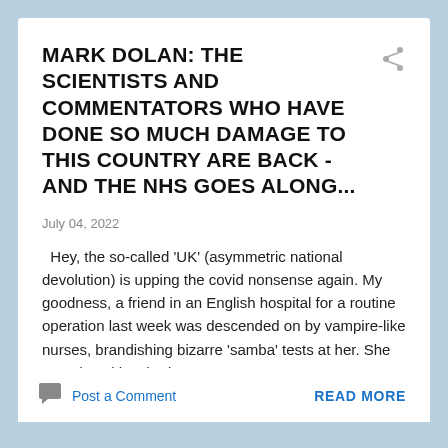MARK DOLAN: THE SCIENTISTS AND COMMENTATORS WHO HAVE DONE SO MUCH DAMAGE TO THIS COUNTRY ARE BACK - AND THE NHS GOES ALONG...
July 04, 2022
Hey, the so-called 'UK' (asymmetric national devolution) is upping the covid nonsense again. My goodness, a friend in an English hospital for a routine operation last week was descended on by vampire-like nurses, brandishing bizarre 'samba' tests at her. She tested positive, had no sympto...
Post a Comment
READ MORE